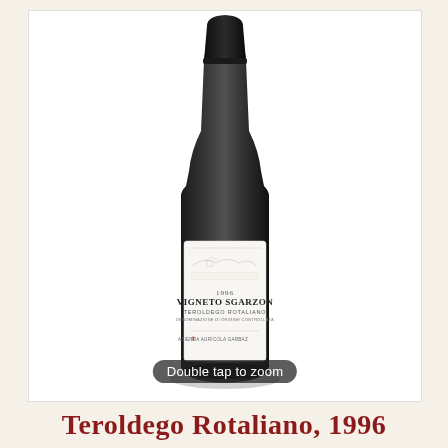[Figure (photo): A dark glass wine bottle with a white label reading '1996 VIGNETO SGARZON, TEROLDEGO ROTALIANO, AZIENDA AGRICOLA GARBAZ'. A dark capsule covers the top. An overlay at the bottom of the image reads 'Double tap to zoom'.]
Teroldego Rotaliano, 1996